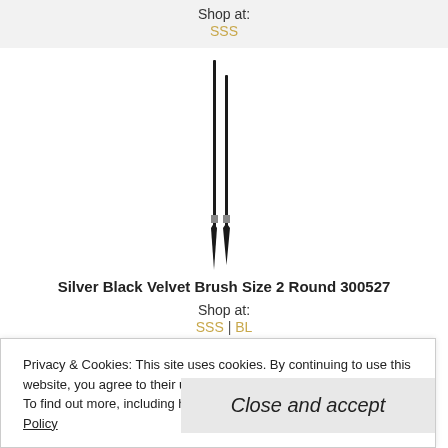Shop at:
SSS
[Figure (photo): Two thin black artist paintbrushes standing vertically, sizes close together]
Silver Black Velvet Brush Size 2 Round 300527
Shop at:
SSS | BL
[Figure (photo): Two thin black artist paintbrushes standing vertically, similar to above]
Privacy & Cookies: This site uses cookies. By continuing to use this website, you agree to their use.
To find out more, including how to control cookies, see here: Cookie Policy
Close and accept